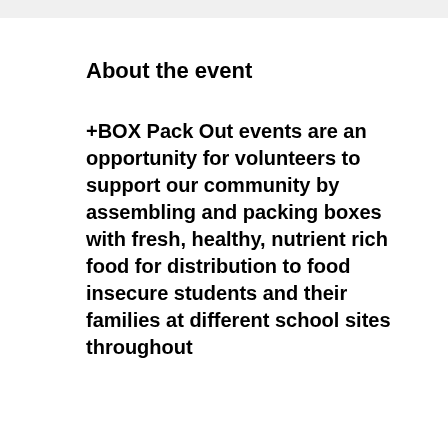About the event
+BOX Pack Out events are an opportunity for volunteers to support our community by assembling and packing boxes with fresh, healthy, nutrient rich food for distribution to food insecure students and their families at different school sites throughout